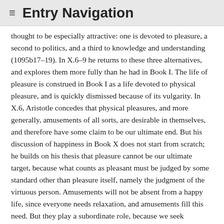≡ Entry Navigation
thought to be especially attractive: one is devoted to pleasure, a second to politics, and a third to knowledge and understanding (1095b17–19). In X.6–9 he returns to these three alternatives, and explores them more fully than he had in Book I. The life of pleasure is construed in Book I as a life devoted to physical pleasure, and is quickly dismissed because of its vulgarity. In X.6, Aristotle concedes that physical pleasures, and more generally, amusements of all sorts, are desirable in themselves, and therefore have some claim to be our ultimate end. But his discussion of happiness in Book X does not start from scratch; he builds on his thesis that pleasure cannot be our ultimate target, because what counts as pleasant must be judged by some standard other than pleasure itself, namely the judgment of the virtuous person. Amusements will not be absent from a happy life, since everyone needs relaxation, and amusements fill this need. But they play a subordinate role, because we seek relaxation in order to return to more important activities.
Aristotle turns therefore, in X.7–8, to the two remaining